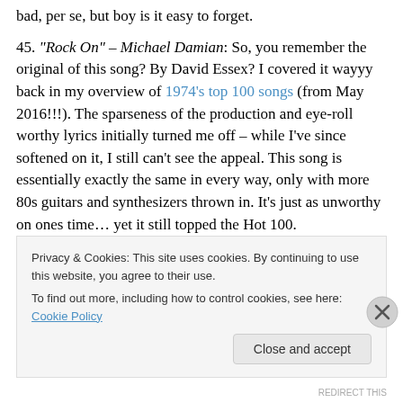bad, per se, but boy is it easy to forget.
45. “Rock On” – Michael Damian: So, you remember the original of this song? By David Essex? I covered it wayyy back in my overview of 1974’s top 100 songs (from May 2016!!!). The sparseness of the production and eye-roll worthy lyrics initially turned me off – while I’ve since softened on it, I still can’t see the appeal. This song is essentially exactly the same in every way, only with more 80s guitars and synthesizers thrown in. It’s just as unworthy on ones time… yet it still topped the Hot 100.
Yeah, I don’t know either.
Privacy & Cookies: This site uses cookies. By continuing to use this website, you agree to their use.
To find out more, including how to control cookies, see here: Cookie Policy